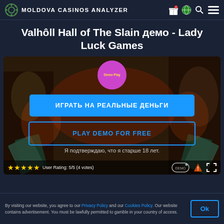MOLDOVA CASINOS ANALYZER
Valhôll Hall of The Slain демо - Lady Luck Games
[Figure (screenshot): Game interface for Valhôll Hall of The Slain showing demo play circle, 'ИГРАТЬ НА РЕАЛЬНЫЕ ДЕНЬГИ' button, 'PLAY DEMO FOR FREE' button, age confirmation text, and rating bar with 5/5 stars (4 votes).]
By visiting our website, you agree to our Privacy Policy and our Cookies Policy. Our website contains advertisement. You must be lawfully permitted to gamble in your country of access.